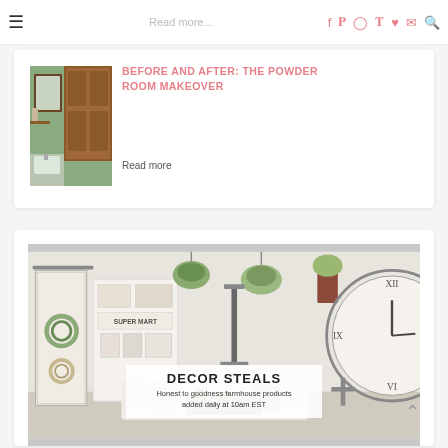Read more... [navigation bar with hamburger menu and social icons]
BEFORE AND AFTER: THE POWDER ROOM MAKEOVER
Read more
[Figure (photo): Bathroom interior photo showing green walls, wooden door, and mirror]
[Figure (photo): Farmhouse style room with barn door, wreaths, plants, and large clock. Overlay reads DECOR STEALS - Honest to goodness farmhouse products added daily at 10am EST]